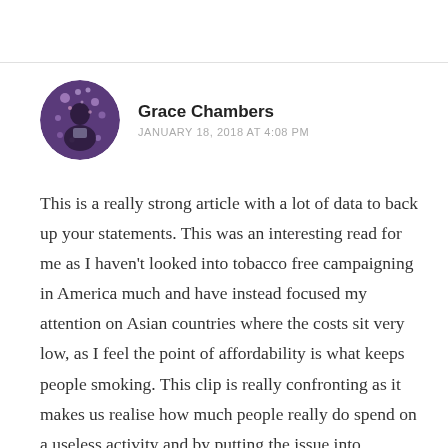Grace Chambers
JANUARY 18, 2018 AT 4:08 PM
This is a really strong article with a lot of data to back up your statements. This was an interesting read for me as I haven't looked into tobacco free campaigning in America much and have instead focused my attention on Asian countries where the costs sit very low, as I feel the point of affordability is what keeps people smoking. This clip is really confronting as it makes us realise how much people really do spend on a useless activity and by putting the issue into perspective it is a lot more effective to the viewers and smokers themselves. I also think the choice of images also is really effective...